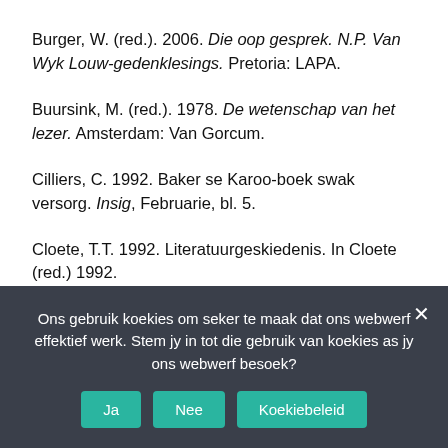Burger, W. (red.). 2006. Die oop gesprek. N.P. Van Wyk Louw-gedenklesings. Pretoria: LAPA.
Buursink, M. (red.). 1978. De wetenschap van het lezer. Amsterdam: Van Gorcum.
Cilliers, C. 1992. Baker se Karoo-boek swak versorg. Insig, Februarie, bl. 5.
Cloete, T.T. 1992. Literatuurgeskiedenis. In Cloete (red.) 1992.
Cloete, T.T. (red.). 1992. Literêre terme en teorieë. Pretoria: HAUM-Literêr.
Ons gebruik koekies om seker te maak dat ons webwerf effektief werk. Stem jy in tot die gebruik van koekies as jy ons webwerf besoek?